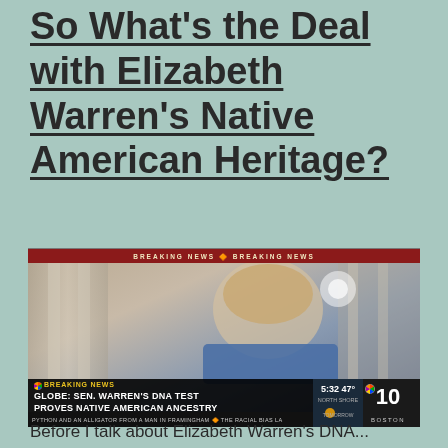So What's the Deal with Elizabeth Warren's Native American Heritage?
[Figure (screenshot): NBC Breaking News TV screenshot showing Elizabeth Warren being interviewed, with chyron reading 'GLOBE: SEN. WARREN'S DNA TEST PROVES NATIVE AMERICAN ANCESTRY', time shown as 5:32, 47 degrees, North Shore, NBC 10 Boston logo visible. Breaking News banner at top and bottom.]
Before I talk about Elizabeth Warren's DNA...